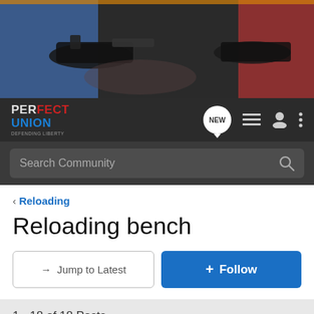[Figure (photo): Hero banner image showing firearms/guns being held, with dark background]
[Figure (logo): Perfect Union Defending Liberty logo in navbar]
Search Community
< Reloading
Reloading bench
→  Jump to Latest
+ Follow
1 - 18 of 18 Posts
nyc71 · Registered
Joined Sep 6, 2011 · 25 Posts